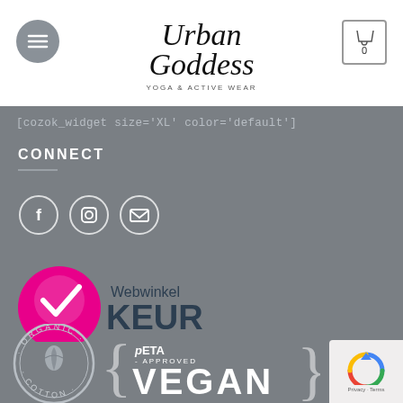[Figure (logo): Urban Goddess Yoga & Active Wear logo in cursive script at top center]
[cozok_widget size='XL' color='default']
CONNECT
[Figure (logo): Social media icons: Facebook, Instagram, Email circles with white outlines]
[Figure (logo): Webwinkel KEUR certification logo with pink checkmark badge]
[Figure (logo): Organic Cotton circular seal logo]
[Figure (logo): PETA-APPROVED VEGAN logo with curly braces]
[Figure (logo): Google reCAPTCHA widget with Privacy and Terms links]